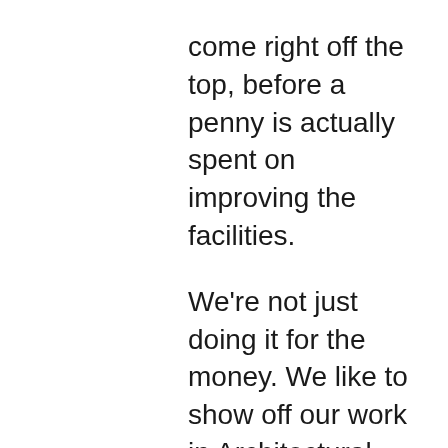come right off the top, before a penny is actually spent on improving the facilities.

We're not just doing it for the money. We like to show off our work in Architectural Digest and other